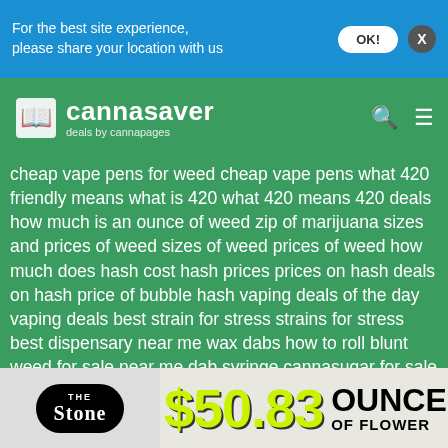For the best site experience, please share your location with us
[Figure (logo): Cannasaver - deals by cannapages logo with book icon on green background]
cheap vape pens for weed cheap vape pens what 420 friendly means what is 420 what 420 means 420 deals how much is an ounce of weed zip of marijuana sizes and prices of weed sizes of weed prices of weed how much does hash cost hash prices prices on hash deals on hash price of bubble hash vaping deals of the day vaping deals best strain for stress strains for stress best dispensary near me wax dabs how to roll blunt weed for sale near me dab syringe cannasugar for sale best dispensary for first time patients best recreational dispensary near me weed brownies price strongest indica strains strongest indica thc wax strains types of dabs cannabis edibles prices dispensary open late how much is weed in colorado
[Figure (infographic): The Stone dispensary ad showing $50.83 ounce of flower deal with black oval logo and yellow-green price text]